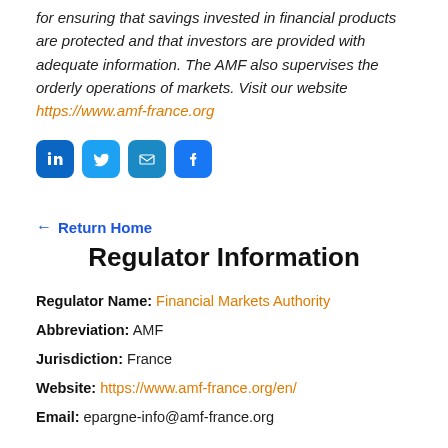for ensuring that savings invested in financial products are protected and that investors are provided with adequate information. The AMF also supervises the orderly operations of markets. Visit our website https://www.amf-france.org
[Figure (infographic): Four social media icon buttons: LinkedIn (blue), Twitter (light blue), Email (teal-blue), Facebook (blue)]
← Return Home
Regulator Information
Regulator Name: Financial Markets Authority
Abbreviation: AMF
Jurisdiction: France
Website: https://www.amf-france.org/en/
Email: epargne-info@amf-france.org